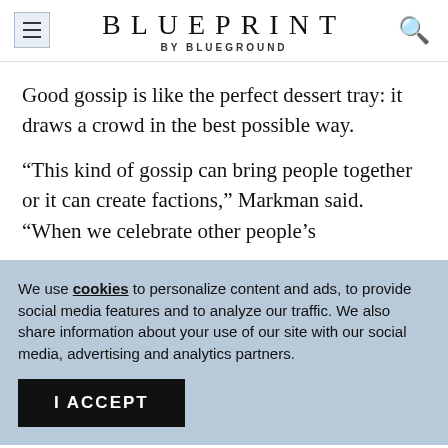BLUEPRINT BY BLUEGROUND
Good gossip is like the perfect dessert tray: it draws a crowd in the best possible way.
“This kind of gossip can bring people together or it can create factions,” Markman said. “When we celebrate other people’s
We use cookies to personalize content and ads, to provide social media features and to analyze our traffic. We also share information about your use of our site with our social media, advertising and analytics partners.
I ACCEPT